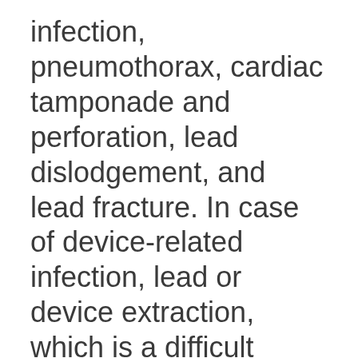infection, pneumothorax, cardiac tamponade and perforation, lead dislodgement, and lead fracture. In case of device-related infection, lead or device extraction, which is a difficult procedure requiring several specialized devices, or an emergent surgery would become necessary. To avoid complications related to